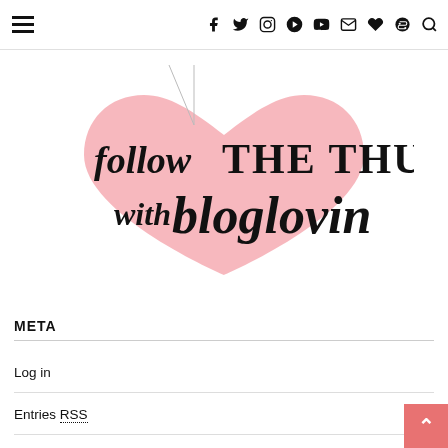Navigation bar with hamburger menu and social icons: f (Facebook), Twitter, Instagram, Pinterest, YouTube, Email, Heart (Bloglovin), Spotify, Search
[Figure (logo): Follow THE THUD with bloglovin logo - script text 'follow' and 'with bloglovin' in black cursive over a pink heart shape, with 'THE THUD' in bold serif caps]
META
Log in
Entries RSS
Comments RSS